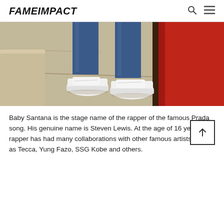FAMEIMPACT
[Figure (photo): Close-up photo of a person's lower legs and feet wearing white sneakers (Nike Air Force 1 style) and blue jeans, standing on a sidewalk next to a red surface/car door on the right side.]
Baby Santana is the stage name of the rapper of the famous Prada song. His genuine name is Steven Lewis. At the age of 16 years, this rapper has had many collaborations with other famous artists such as Tecca, Yung Fazo, SSG Kobe and others.